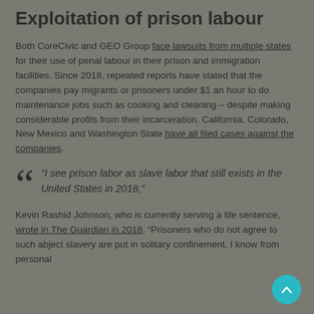Exploitation of prison labour
Both CoreCivic and GEO Group face lawsuits from multiple states for their use of penal labour in their prison and immigration facilities. Since 2018, repeated reports have stated that the companies pay migrants or prisoners under $1 an hour to do maintenance jobs such as cooking and cleaning – despite making considerable profits from their incarceration. California, Colorado, New Mexico and Washington State have all filed cases against the companies.
“I see prison labor as slave labor that still exists in the United States in 2018,”
Kevin Rashid Johnson, who is currently serving a life sentence, wrote in The Guardian in 2018. “Prisoners who do not agree to such abject slavery are put in solitary confinement. I know from personal